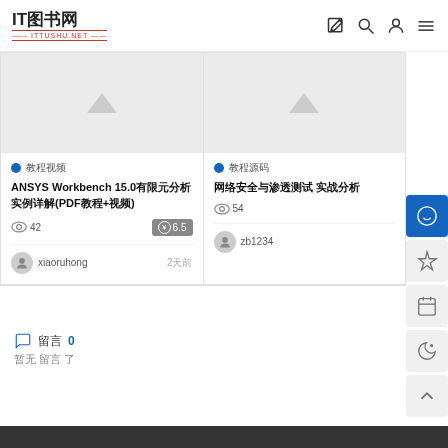IT图书网 — ITTUSHU.NET
[Figure (screenshot): Two book listing cards. Left card: category 教程视频, title ANSYS Workbench 15.0有限元分析实例详解(PDF教程+视频), views 42, price 6.5 coins, author xiaoruhong, time 2天前. Right card: category 教程源码, title 网络安全与渗透测试 实战分析, views 54, author zb1234.]
留言  0
暂无 留言 了